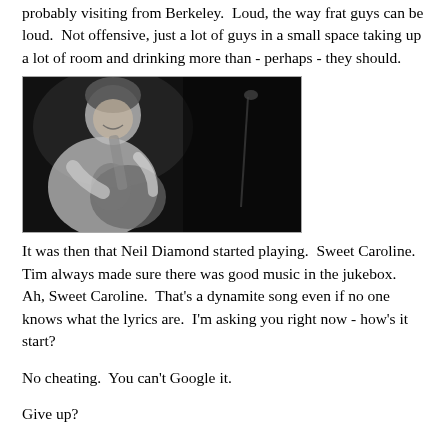probably visiting from Berkeley.  Loud, the way frat guys can be loud.  Not offensive, just a lot of guys in a small space taking up a lot of room and drinking more than - perhaps - they should.
[Figure (photo): Black and white photo of Neil Diamond performing, smiling, holding a guitar, with a microphone stand visible on the right side of the image.]
It was then that Neil Diamond started playing.  Sweet Caroline.  Tim always made sure there was good music in the jukebox.  Ah, Sweet Caroline.  That's a dynamite song even if no one knows what the lyrics are.  I'm asking you right now - how's it start?
No cheating.  You can't Google it.
Give up?